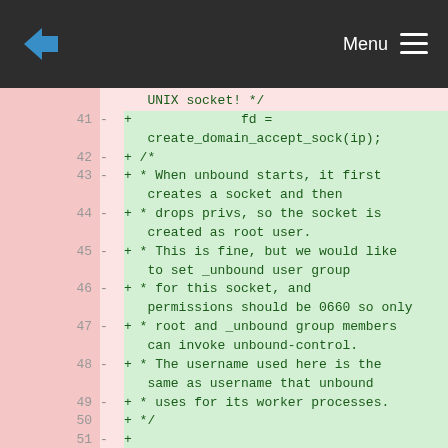Menu
Code diff showing lines 41-52 with added lines in a diff view. Content includes: UNIX socket! */ fd = create_domain_accept_sock(ip); +/* + * When unbound starts, it first creates a socket and then + * drops privs, so the socket is created as root user. + * This is fine, but we would like to set _unbound user group + * for this socket, and permissions should be 0660 so only + * root and _unbound group members can invoke unbound-control. + * The username used here is the same as username that unbound + * uses for its worker processes. + */ + +/*